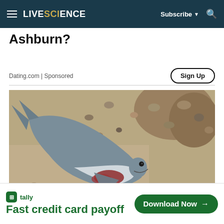LIVESCIENCE — Subscribe ▾ 🔍
Ashburn?
Dating.com | Sponsored
Sign Up
[Figure (photo): A dead shark or similar fish lying on a sandy beach covered with pebbles and rocks]
⊞ tally
Fast credit card payoff
Download Now →